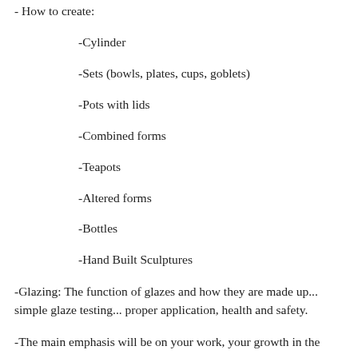- How to create:
-Cylinder
-Sets (bowls, plates, cups, goblets)
-Pots with lids
-Combined forms
-Teapots
-Altered forms
-Bottles
-Hand Built Sculptures
-Glazing: The function of glazes and how they are made up... simple glaze testing... proper application, health and safety.
-The main emphasis will be on your work, your growth in the